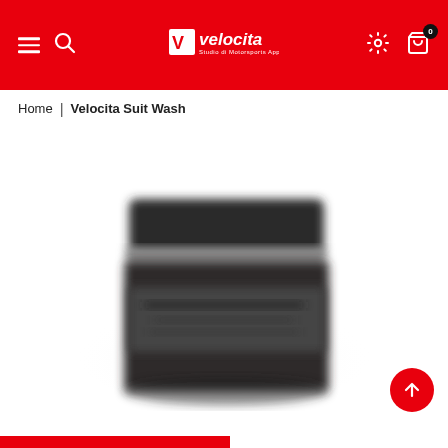Velocita – Header navigation with logo, menu, search, settings, and cart
Home | Velocita Suit Wash
[Figure (photo): Blurred product photo of a round dark container (Velocita Suit Wash) on white background]